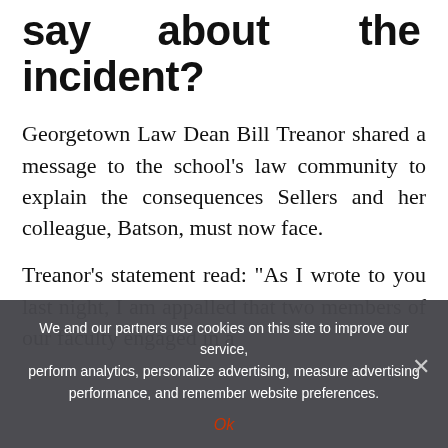say about the incident?
Georgetown Law Dean Bill Treanor shared a message to the school's law community to explain the consequences Sellers and her colleague, Batson, must now face.
Treanor's statement read: "As I wrote to you last night, I am appalled that two members of our faculty engaged in a
We and our partners use cookies on this site to improve our service, perform analytics, personalize advertising, measure advertising performance, and remember website preferences.
Ok